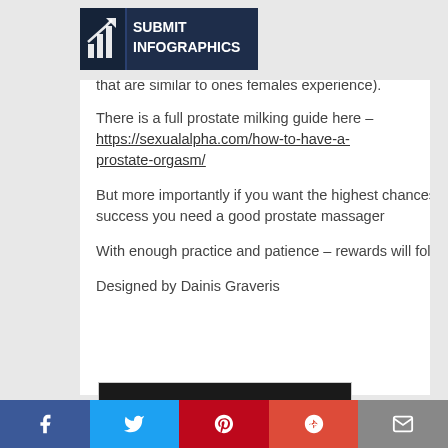[Figure (logo): Submit Infographics logo — dark navy rectangle with white bar chart icon and white bold text 'SUBMIT INFOGRAPHICS']
that are similar to ones females experience).
There is a full prostate milking guide here – https://sexualalpha.com/how-to-have-a-prostate-orgasm/
But more importantly if you want the highest chances of success you need a good prostate massager
With enough practice and patience – rewards will follow.
Designed by Dainis Graveris
[Figure (screenshot): Dark banner with bold white text beginning 'Score from the sweetest...']